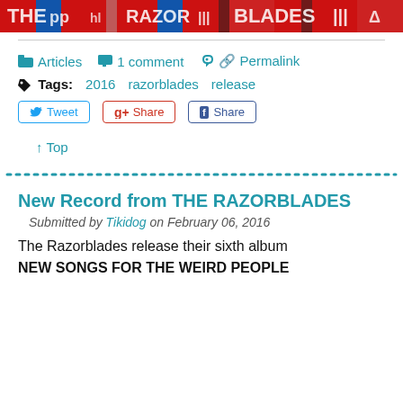[Figure (illustration): Colorful banner header with red, blue, and black text/logo elements for a music website]
Articles   1 comment   Permalink
Tags: 2016   razorblades   release
Tweet   Share   Share (social buttons)
↑ Top
New Record from THE RAZORBLADES
Submitted by Tikidog on February 06, 2016
The Razorblades release their sixth album
NEW SONGS FOR THE WEIRD PEOPLE